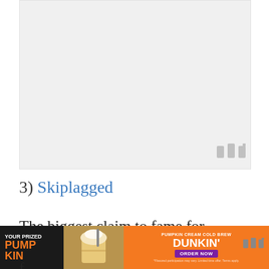[Figure (other): Large blank/white advertisement placeholder area with a small watermark icon in the bottom right corner]
3) Skiplagged
The biggest claim to fame for Skiplagged is that it was once sued by a major airline f[or...]
[Figure (other): Dunkin' Donuts advertisement banner: YOUR PRIZED PUMPKIN / PUMPKIN CREAM COLD BREW / DUNKIN' / ORDER NOW, with image of cold brew drink]